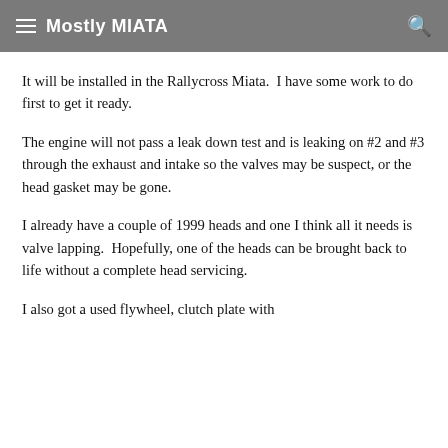Mostly MIATA
It will be installed in the Rallycross Miata.  I have some work to do first to get it ready.
The engine will not pass a leak down test and is leaking on #2 and #3 through the exhaust and intake so the valves may be suspect, or the head gasket may be gone.
I already have a couple of 1999 heads and one I think all it needs is valve lapping.  Hopefully, one of the heads can be brought back to life without a complete head servicing.
I also got a used flywheel, clutch plate with